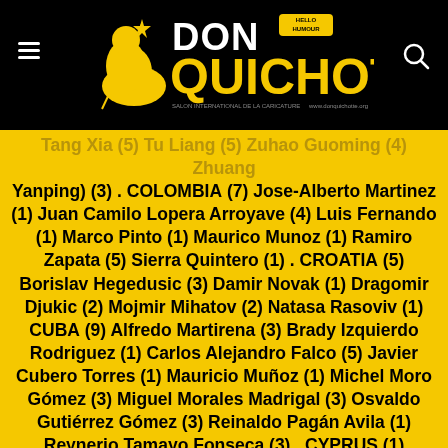Don Quichotte
Tang Xia (5) Tu Liang (5) Zuhao Guoming (4) Zhuang Yanping) (3) . COLOMBIA (7) Jose-Alberto Martinez (1) Juan Camilo Lopera Arroyave (4) Luis Fernando (1) Marco Pinto (1) Maurico Munoz (1) Ramiro Zapata (5) Sierra Quintero (1) . CROATIA (5) Borislav Hegedusic (3) Damir Novak (1) Dragomir Djukic (2) Mojmir Mihatov (2) Natasa Rasoviv (1) CUBA (9) Alfredo Martirena (3) Brady Izquierdo Rodriguez (1) Carlos Alejandro Falco (5) Javier Cubero Torres (1) Mauricio Muñoz (1) Michel Moro Gómez (3) Miguel Morales Madrigal (3) Osvaldo Gutiérrez Gómez (3) Reinaldo Pagán Avila (1) Reynerio Tamayo Fonseca (3) . CYPRUS (1) Mustafa Tozaký (2) . CZECH REPUBLIC (1) Evzen David (3) . DENMARK (1) Niels Bo Bojesen (2) . EGYPT (1) Maged Nashaat Kamal (2) . FRANCE (3) Bernard Bouton (3) Jean-Loïc Bel (3) Maria El Helou (2) . GERMANY (5) Hossein Eskandery (5) Neltair Abreu (2) Sabine Voiggt (1) Valeri Kurtu (1) Zati Altay (1) . GREAT BRITAIN (1) Isabella De